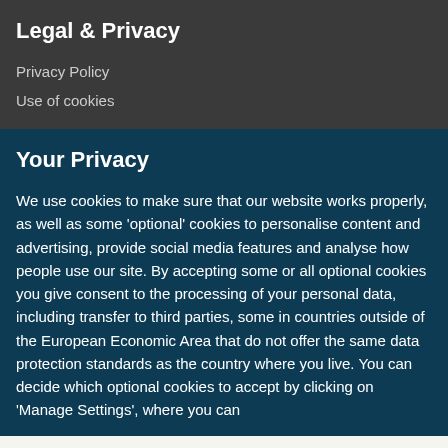Legal & Privacy
Privacy Policy
Use of cookies
Your Privacy
We use cookies to make sure that our website works properly, as well as some 'optional' cookies to personalise content and advertising, provide social media features and analyse how people use our site. By accepting some or all optional cookies you give consent to the processing of your personal data, including transfer to third parties, some in countries outside of the European Economic Area that do not offer the same data protection standards as the country where you live. You can decide which optional cookies to accept by clicking on 'Manage Settings', where you can
Get the most important science stories of the day, free in your inbox.
Sign up for Nature Briefing